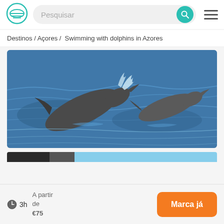[Figure (logo): Teal circular logo with horizontal lines]
Pesquisar
Destinos / Açores / Swimming with dolphins in Azores
[Figure (photo): Two dolphins jumping and swimming in blue ocean water with splashes]
[Figure (photo): Partially visible bottom image strip showing dark and light blue sections]
3h
A partir de €75
Marca já